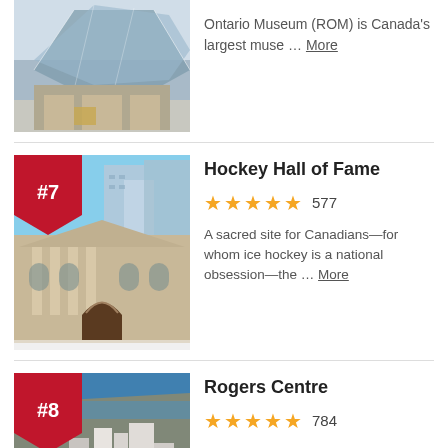[Figure (photo): Partial view of Royal Ontario Museum (ROM) modern geometric glass facade]
Ontario Museum (ROM) is Canada's largest muse … More
[Figure (photo): Hockey Hall of Fame exterior, classical stone building with #7 badge]
Hockey Hall of Fame
★★★★★ 577
A sacred site for Canadians—for whom ice hockey is a national obsession—the … More
[Figure (photo): Rogers Centre aerial view of Toronto waterfront with #8 badge]
Rogers Centre
★★★★★ 784
Located in downtown Toronto at the base of the CN Tower,